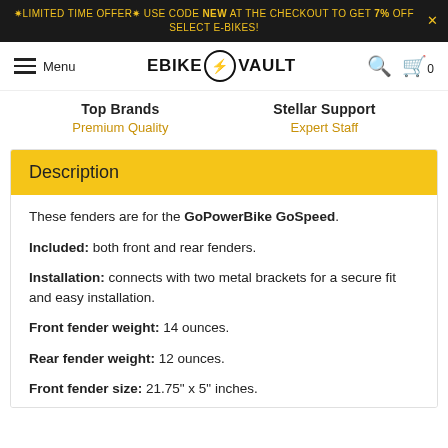✷LIMITED TIME OFFER✷ USE CODE NEW AT THE CHECKOUT TO GET 7% OFF SELECT E-BIKES!
EBIKE⚡VAULT — Menu | Search | Cart 0
Top Brands
Premium Quality
Stellar Support
Expert Staff
Description
These fenders are for the GoPowerBike GoSpeed.
Included: both front and rear fenders.
Installation: connects with two metal brackets for a secure fit and easy installation.
Front fender weight: 14 ounces.
Rear fender weight: 12 ounces.
Front fender size: 21.75" x 5" inches.